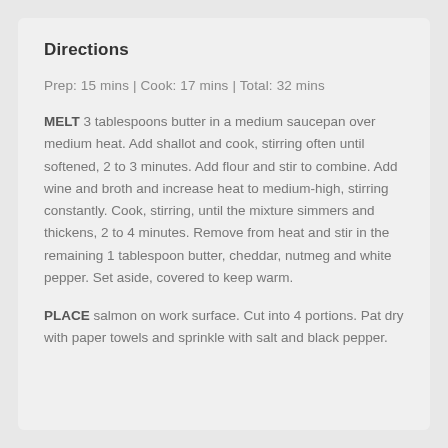Directions
Prep: 15 mins | Cook: 17 mins | Total: 32 mins
MELT 3 tablespoons butter in a medium saucepan over medium heat. Add shallot and cook, stirring often until softened, 2 to 3 minutes. Add flour and stir to combine. Add wine and broth and increase heat to medium-high, stirring constantly. Cook, stirring, until the mixture simmers and thickens, 2 to 4 minutes. Remove from heat and stir in the remaining 1 tablespoon butter, cheddar, nutmeg and white pepper. Set aside, covered to keep warm.
PLACE salmon on work surface. Cut into 4 portions. Pat dry with paper towels and sprinkle with salt and black pepper.